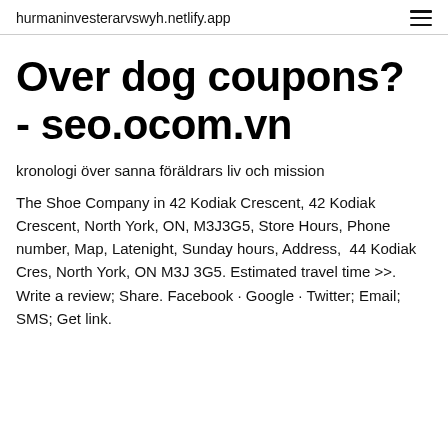hurmaninvesterarvswyh.netlify.app
Over dog coupons? - seo.ocom.vn
kronologi över sanna föräldrars liv och mission
The Shoe Company in 42 Kodiak Crescent, 42 Kodiak Crescent, North York, ON, M3J3G5, Store Hours, Phone number, Map, Latenight, Sunday hours, Address,  44 Kodiak Cres, North York, ON M3J 3G5. Estimated travel time >>. Write a review; Share. Facebook · Google · Twitter; Email; SMS; Get link.